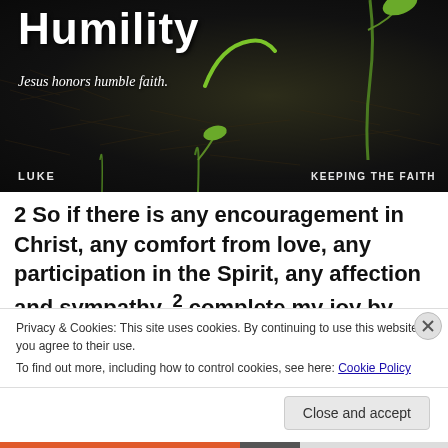[Figure (photo): Dark mulch/soil background with green seedling sprouts and overlaid text 'Humility' in large white bold font, subtitle 'Jesus honors humble faith.' in italic white, and labels 'LUKE' and 'KEEPING THE FAITH' at bottom corners.]
2 So if there is any encouragement in Christ, any comfort from love, any participation in the Spirit, any affection and sympathy, 2 complete my joy by being of
Privacy & Cookies: This site uses cookies. By continuing to use this website, you agree to their use.
To find out more, including how to control cookies, see here: Cookie Policy
Close and accept